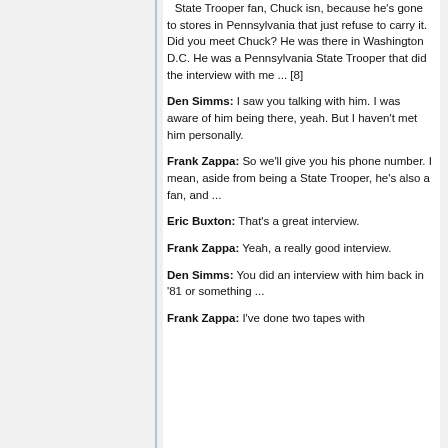State Trooper fan, Chuck isn, because he's gone to stores in Pennsylvania that just refuse to carry it. Did you meet Chuck? He was there in Washington D.C. He was a Pennsylvania State Trooper that did the interview with me ... [8]
Den Simms: I saw you talking with him. I was aware of him being there, yeah. But I haven't met him personally.
Frank Zappa: So we'll give you his phone number. I mean, aside from being a State Trooper, he's also a fan, and ...
Eric Buxton: That's a great interview.
Frank Zappa: Yeah, a really good interview.
Den Simms: You did an interview with him back in '81 or something ...
Frank Zappa: I've done two tapes with